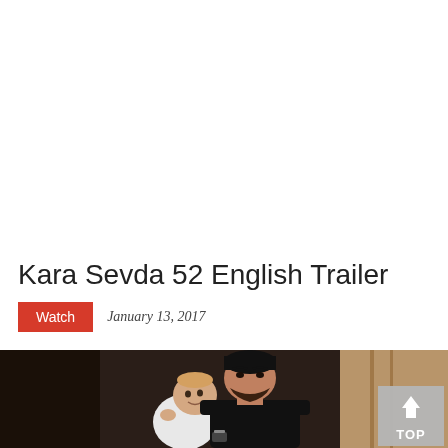[Figure (other): White advertisement/banner area at top of page]
Kara Sevda 52 English Trailer
Watch   January 13, 2017
[Figure (photo): Photo of a dark-haired man in black holding a baby, with a 'TOP' scroll button overlay in bottom right corner]